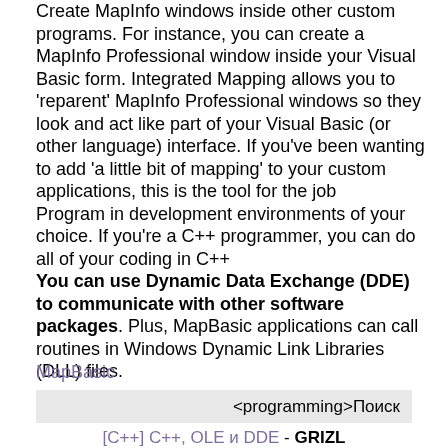Create MapInfo windows inside other custom programs. For instance, you can create a MapInfo Professional window inside your Visual Basic form. Integrated Mapping allows you to 'reparent' MapInfo Professional windows so they look and act like part of your Visual Basic (or other language) interface. If you've been wanting to add 'a little bit of mapping' to your custom applications, this is the tool for the job
Program in development environments of your choice. If you're a C++ programmer, you can do all of your coding in C++
You can use Dynamic Data Exchange (DDE) to communicate with other software packages. Plus, MapBasic applications can call routines in Windows Dynamic Link Libraries (DLL) files.
MapBasic
<programming>Поиск
[C++] C++, OLE и DDE - GRIZL